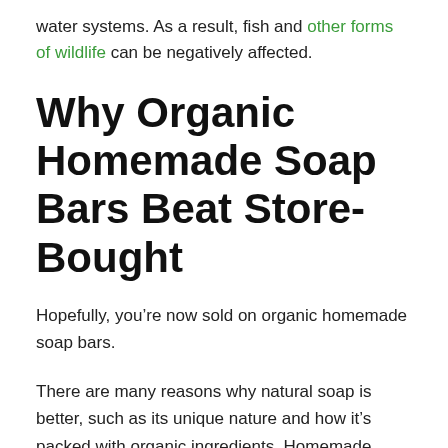water systems. As a result, fish and other forms of wildlife can be negatively affected.
Why Organic Homemade Soap Bars Beat Store-Bought
Hopefully, you’re now sold on organic homemade soap bars.
There are many reasons why natural soap is better, such as its unique nature and how it’s packed with organic ingredients. Homemade soap is also more economical and offers a rich lather. What’s not to love?